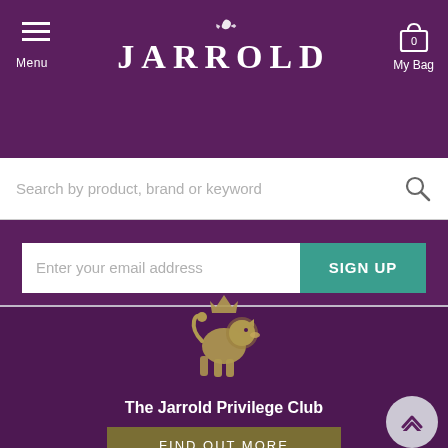JARROLD — Menu | My Bag (0)
Search by product, brand or keyword
Enter your email address | SIGN UP
[Figure (logo): Jarrold Privilege Club lion crest logo in gold on purple background]
The Jarrold Privilege Club
FIND OUT MORE